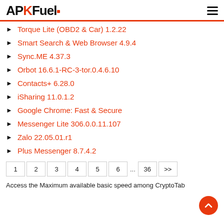APKFuel
Torque Lite (OBD2 & Car) 1.2.22
Smart Search & Web Browser 4.9.4
Sync.ME 4.37.3
Orbot 16.6.1-RC-3-tor.0.4.6.10
Contacts+ 6.28.0
iSharing 11.0.1.2
Google Chrome: Fast & Secure
Messenger Lite 306.0.0.11.107
Zalo 22.05.01.r1
Plus Messenger 8.7.4.2
1 2 3 4 5 6 ... 36 >>
Access the Maximum available basic speed among CryptoTab